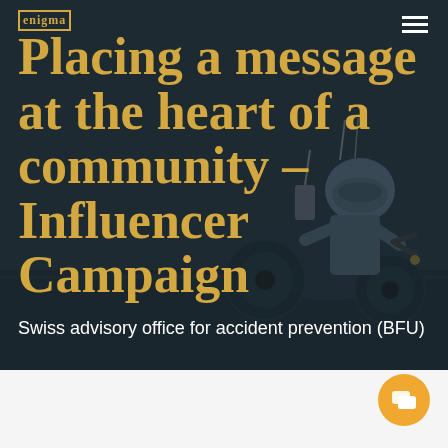enigma
Placing a message at the heart of a community – Influencer Campaign
Swiss advisory office for accident prevention (BFU)